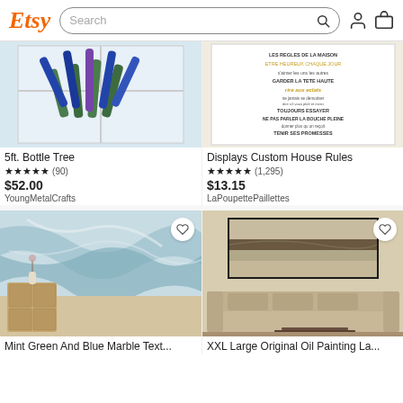Etsy Search
[Figure (photo): Photo of a 5ft. Bottle Tree made with blue and green wine bottles arranged decoratively.]
5ft. Bottle Tree
★★★★★ (90)
$52.00
YoungMetalCrafts
[Figure (photo): Photo of a custom house rules wall art print with French text in black and gold/orange colors.]
Displays Custom House Rules
★★★★★ (1,295)
$13.15
LaPoupettePaillettes
[Figure (photo): Photo of Mint Green And Blue Marble Texture wallpaper or wall mural in a living room setting with a dresser and plant.]
Mint Green And Blue Marble Text...
[Figure (photo): Photo of XXL Large Original Oil Painting of a landscape, shown above a beige sectional sofa in a living room.]
XXL Large Original Oil Painting La...